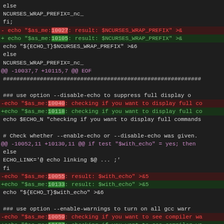[Figure (screenshot): Diff output of a shell configure script showing line number changes from old to new version. Red lines (prefixed with -) show removed code, green lines (prefixed with +) show added code, magenta lines show hunk headers. The diff updates line numbers like 10027->10105, 10040->10118, 10055->10133, 10059->10137 in echo statements.]